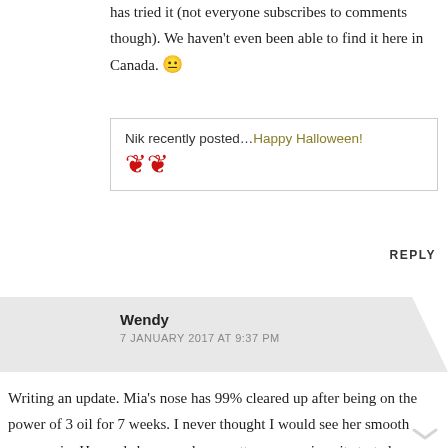has tried it (not everyone subscribes to comments though). We haven't even been able to find it here in Canada. 😐
Nik recently posted…Happy Halloween!
REPLY
Wendy
7 JANUARY 2017 AT 9:37 PM
Writing an update. Mia's nose has 99% cleared up after being on the power of 3 oil for 7 weeks. I never thought I would see her smooth nose again. Her pads however have gotten worse since it started snowing. We don't walk her on roads ever! Next step is to ask